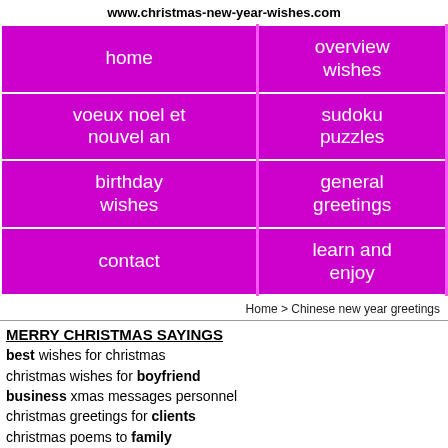www.christmas-new-year-wishes.com
| home | overview
wishes |
| voeux noel et
nouvel an | sudoku
puzzles |
| birthday
wishes | general
greetings |
| contact | learn and
enjoy |
Home > Chinese new year greetings
MERRY CHRISTMAS SAYINGS
best wishes for christmas
christmas wishes for boyfriend
business xmas messages personnel
christmas greetings for clients
christmas poems to family
christmas greetings for friends
humorous wishes christmas
christmas sayings for kids
religious christmas verses